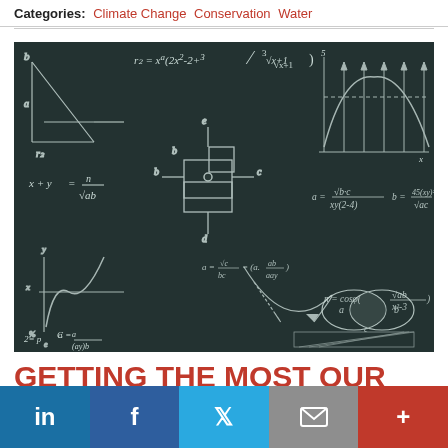Categories: Climate Change  Conservation  Water
[Figure (photo): Blackboard covered with chalk-written mathematical formulas, geometric diagrams, graphs, and equations including expressions with square roots, trigonometric functions, coordinates, and set theory symbols.]
GETTING THE MOST OUR OF EMISSIONS REDUCTIONS
in  f  Twitter  Email  +